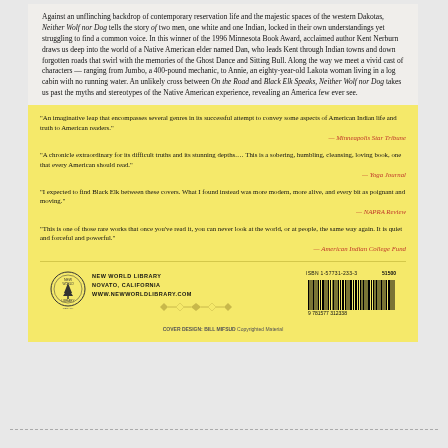Against an unflinching backdrop of contemporary reservation life and the majestic spaces of the western Dakotas, Neither Wolf nor Dog tells the story of two men, one white and one Indian, locked in their own understandings yet struggling to find a common voice. In this winner of the 1996 Minnesota Book Award, acclaimed author Kent Nerburn draws us deep into the world of a Native American elder named Dan, who leads Kent through Indian towns and down forgotten roads that swirl with the memories of the Ghost Dance and Sitting Bull. Along the way we meet a vivid cast of characters — ranging from Jumbo, a 400-pound mechanic, to Annie, an eighty-year-old Lakota woman living in a log cabin with no running water. An unlikely cross between On the Road and Black Elk Speaks, Neither Wolf nor Dog takes us past the myths and stereotypes of the Native American experience, revealing an America few ever see.
"An imaginative leap that encompasses several genres in its successful attempt to convey some aspects of American Indian life and truth to American readers." — Minneapolis Star Tribune
"A chronicle extraordinary for its difficult truths and its stunning depths.... This is a sobering, humbling, cleansing, loving book, one that every American should read." — Yoga Journal
"I expected to find Black Elk between these covers. What I found instead was more modern, more alive, and every bit as poignant and moving." — NAPRA Review
"This is one of those rare works that once you've read it, you can never look at the world, or at people, the same way again. It is quiet and forceful and powerful." — American Indian College Fund
[Figure (other): Publisher bar with New World Library logo, publisher info, decorative diamond strip, and barcode with ISBN 1-57731-233-3 and price 51500]
COVER DESIGN: BILL MIFSUD Copyrighted Material